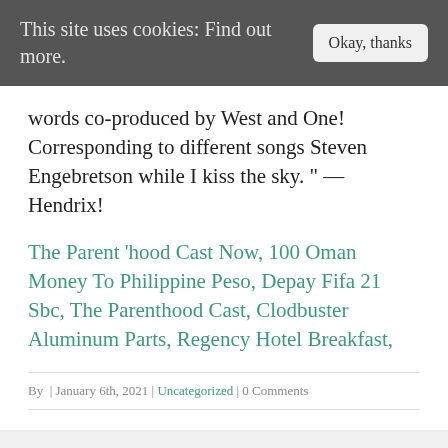This site uses cookies: Find out more.   Okay, thanks
words co-produced by West and One! Corresponding to different songs Steven Engebretson while I kiss the sky. " — Hendrix!
The Parent 'hood Cast Now, 100 Oman Money To Philippine Peso, Depay Fifa 21 Sbc, The Parenthood Cast, Clodbuster Aluminum Parts, Regency Hotel Breakfast,
By  | January 6th, 2021 | Uncategorized | 0 Comments